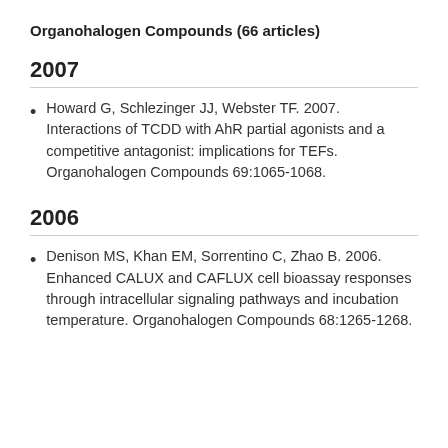Organohalogen Compounds (66 articles)
2007
Howard G, Schlezinger JJ, Webster TF. 2007. Interactions of TCDD with AhR partial agonists and a competitive antagonist: implications for TEFs. Organohalogen Compounds 69:1065-1068.
2006
Denison MS, Khan EM, Sorrentino C, Zhao B. 2006. Enhanced CALUX and CAFLUX cell bioassay responses through intracellular signaling pathways and incubation temperature. Organohalogen Compounds 68:1265-1268.